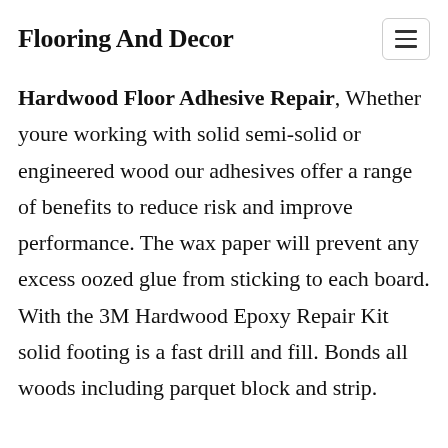Flooring And Decor
Hardwood Floor Adhesive Repair
Whether youre working with solid semi-solid or engineered wood our adhesives offer a range of benefits to reduce risk and improve performance. The wax paper will prevent any excess oozed glue from sticking to each board. With the 3M Hardwood Epoxy Repair Kit solid footing is a fast drill and fill. Bonds all woods including parquet block and strip.